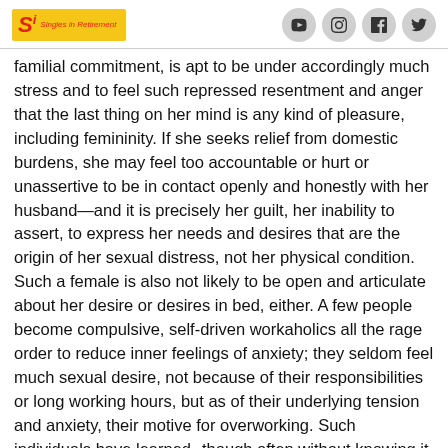Singles in Retirement — with social media icons (YouTube, Instagram, Facebook, Twitter)
familial commitment, is apt to be under accordingly much stress and to feel such repressed resentment and anger that the last thing on her mind is any kind of pleasure, including femininity. If she seeks relief from domestic burdens, she may feel too accountable or hurt or unassertive to be in contact openly and honestly with her husband—and it is precisely her guilt, her inability to assert, to express her needs and desires that are the origin of her sexual distress, not her physical condition. Such a female is also not likely to be open and articulate about her desire or desires in bed, either. A few people become compulsive, self-driven workaholics all the rage order to reduce inner feelings of anxiety; they seldom feel much sexual desire, not because of their responsibilities or long working hours, but as of their underlying tension and anxiety, their motive for overworking. Such individuals have learned--though often without knowing it—that when they're nervous or anxious it somehow makes them feel